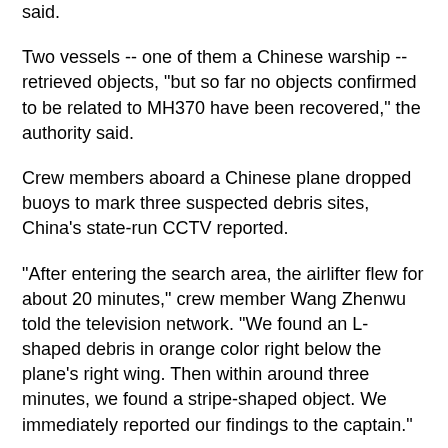said.
Two vessels -- one of them a Chinese warship -- retrieved objects, "but so far no objects confirmed to be related to MH370 have been recovered," the authority said.
Crew members aboard a Chinese plane dropped buoys to mark three suspected debris sites, China's state-run CCTV reported.
"After entering the search area, the airlifter flew for about 20 minutes," crew member Wang Zhenwu told the television network. "We found an L-shaped debris in orange color right below the plane's right wing. Then within around three minutes, we found a stripe-shaped object. We immediately reported our findings to the captain."
The captain, Liu Jun, said buoys containing dye were dropped on each of the suspected sites, according to CCTV.
Relatives complaining
Relatives of the 239 people on board the plane have